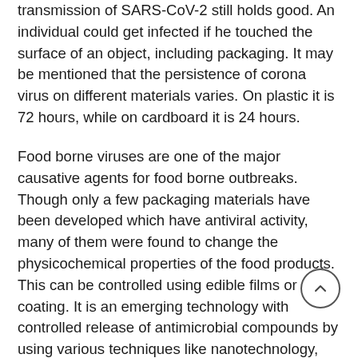transmission of SARS-CoV-2 still holds good. An individual could get infected if he touched the surface of an object, including packaging. It may be mentioned that the persistence of corona virus on different materials varies. On plastic it is 72 hours, while on cardboard it is 24 hours.
Food borne viruses are one of the major causative agents for food borne outbreaks. Though only a few packaging materials have been developed which have antiviral activity, many of them were found to change the physicochemical properties of the food products. This can be controlled using edible films or coating. It is an emerging technology with controlled release of antimicrobial compounds by using various techniques like nanotechnology, encapsulation, and